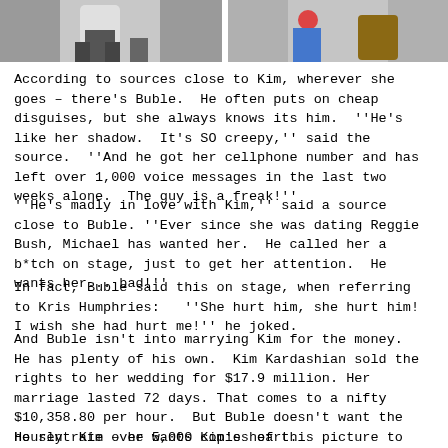[Figure (photo): Two photos side by side at top: left shows a person in white top with dark pants and luggage, right shows a partial figure in jeans with a bag]
According to sources close to Kim, wherever she goes – there's Buble.  He often puts on cheap disguises, but she always knows its him.  ''He's like her shadow.  It's SO creepy,'' said the source.  ''And he got her cellphone number and has left over 1,000 voice messages in the last two weeks alone.  The guy is a freak!''
''He's madly in love with Kim,'' said a source close to Buble.  ''Ever since she was dating Reggie Bush, Michael has wanted her.  He called her a b*tch on stage, just to get her attention.  He wants her... bad!''
In fact, Buble said this on stage, when referring to Kris Humphries:   ''She hurt him, she hurt him! I wish she had hurt me!'' he joked.
And Buble isn't into marrying Kim for the money.  He has plenty of his own.  Kim Kardashian sold the rights to her wedding for $17.9 million. Her marriage lasted 72 days. That comes to a nifty $10,358.80 per hour.  But Buble doesn't want the hourly rate – he wants Kim's heart.
He sent Kim over 5,000 copies of this picture to Kim's house.